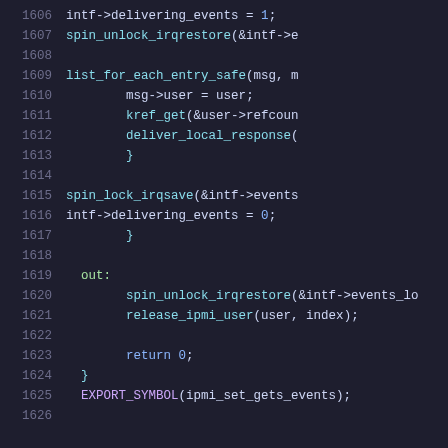[Figure (screenshot): Source code listing lines 1606-1626 of a C kernel file showing IPMI event delivery logic including spin_lock/unlock, list_for_each_entry_safe, deliver_local_response, and EXPORT_SYMBOL calls.]